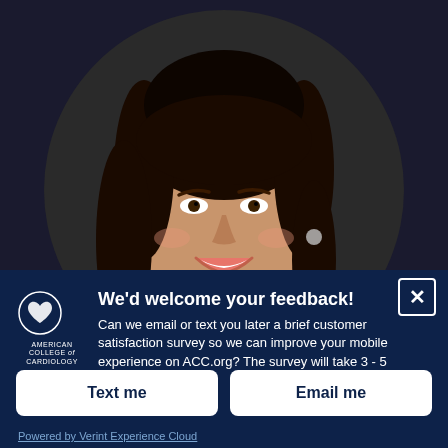[Figure (photo): Circular cropped headshot photo of a smiling young woman with long dark hair, wearing a black top with white floral details and a silver necklace, against a dark background.]
We'd welcome your feedback!
Can we email or text you later a brief customer satisfaction survey so we can improve your mobile experience on ACC.org? The survey will take 3 - 5 minutes to complete.
Text me
Email me
Powered by Verint Experience Cloud